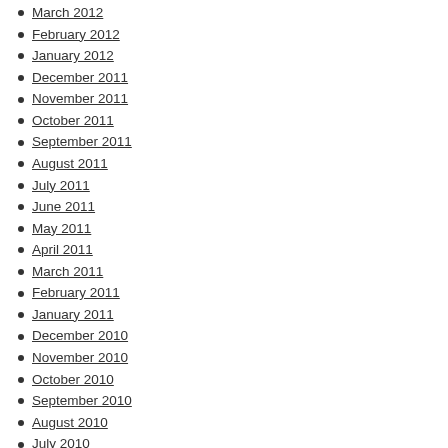March 2012
February 2012
January 2012
December 2011
November 2011
October 2011
September 2011
August 2011
July 2011
June 2011
May 2011
April 2011
March 2011
February 2011
January 2011
December 2010
November 2010
October 2010
September 2010
August 2010
July 2010
June 2010
May 2010
April 2010
March 2010
February 2010